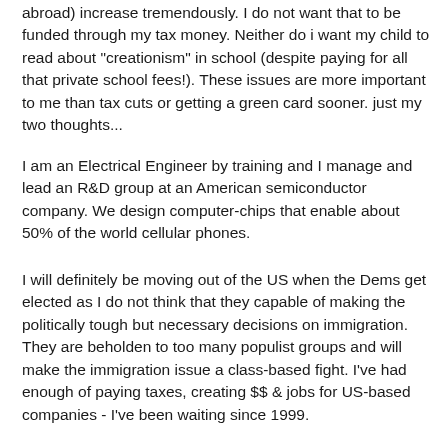abroad) increase tremendously. I do not want that to be funded through my tax money. Neither do i want my child to read about "creationism" in school (despite paying for all that private school fees!). These issues are more important to me than tax cuts or getting a green card sooner. just my two thoughts...
I am an Electrical Engineer by training and I manage and lead an R&D group at an American semiconductor company. We design computer-chips that enable about 50% of the world cellular phones.
I will definitely be moving out of the US when the Dems get elected as I do not think that they capable of making the politically tough but necessary decisions on immigration. They are beholden to too many populist groups and will make the immigration issue a class-based fight. I've had enough of paying taxes, creating $$ & jobs for US-based companies - I've been waiting since 1999.
I am of course thankful to the US taxpayer who has paid for